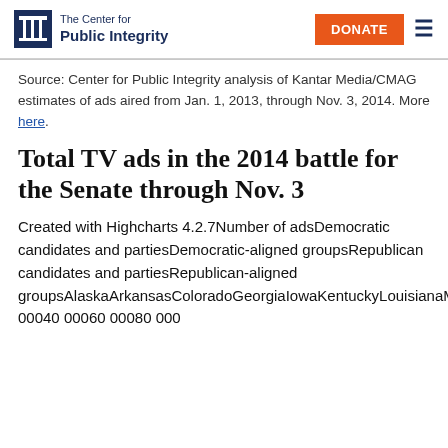The Center for Public Integrity
Source: Center for Public Integrity analysis of Kantar Media/CMAG estimates of ads aired from Jan. 1, 2013, through Nov. 3, 2014. More here.
Total TV ads in the 2014 battle for the Senate through Nov. 3
Created with Highcharts 4.2.7Number of adsDemocratic candidates and partiesDemocratic-aligned groupsRepublican candidates and partiesRepublican-aligned groupsAlaskaArkansasColoradoGeorgiaIowaKentuckyLouisianaMichiganNewHampshireNorthCarolinaVirginia020 00040 00060 00080 000